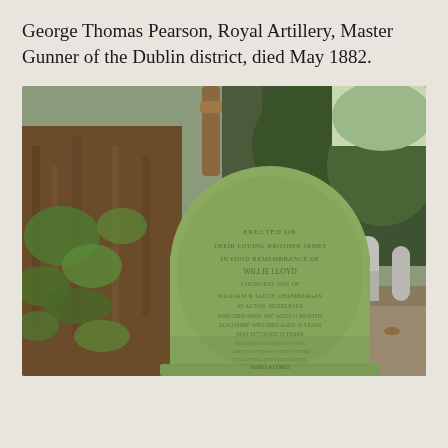George Thomas Pearson, Royal Artillery, Master Gunner of the Dublin district, died May 1882.
[Figure (photo): Photograph of a weathered gravestone covered in green moss/lichen, standing in a cemetery with trees and other gravestones visible in the background. The inscription on the stone is partially legible and mentions names including Willie Lloyd, William & Lizzie, Mabe, Aldridge, and James Alfred.]